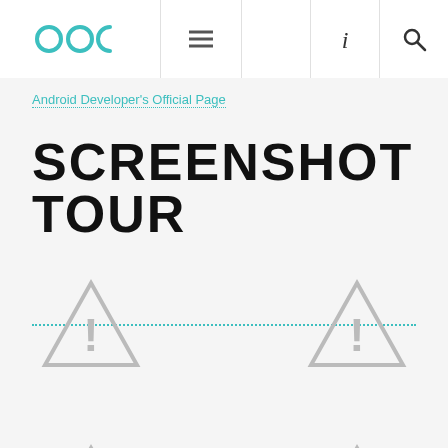OOC logo with hamburger menu, info icon, and search icon navigation bar
Android Developer's Official Page
SCREENSHOT TOUR
[Figure (screenshot): Two image placeholder icons (warning triangle with exclamation mark) arranged side by side with a dotted teal horizontal line through them, first row]
[Figure (screenshot): Two image placeholder icons (warning triangle with exclamation mark) arranged side by side with a dotted teal horizontal line through them, second row (partially visible)]